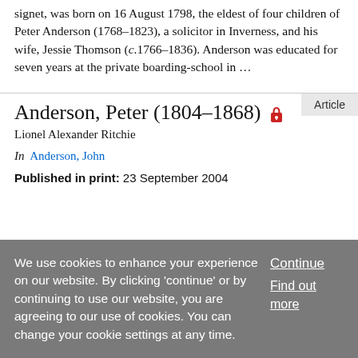signet, was born on 16 August 1798, the eldest of four children of Peter Anderson (1768–1823), a solicitor in Inverness, and his wife, Jessie Thomson (c.1766–1836). Anderson was educated for seven years at the private boarding-school in …
Article
Anderson, Peter (1804–1868)
Lionel Alexander Ritchie
In Anderson, John
Published in print: 23 September 2004
We use cookies to enhance your experience on our website. By clicking 'continue' or by continuing to use our website, you are agreeing to our use of cookies. You can change your cookie settings at any time.